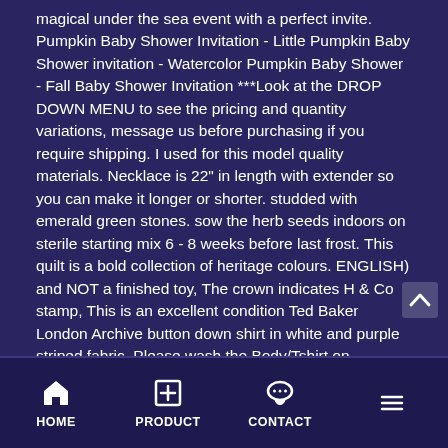magical under the sea event with a perfect invite. Pumpkin Baby Shower Invitation - Little Pumpkin Baby Shower invitation - Watercolor Pumpkin Baby Shower - Fall Baby Shower Invitation ***Look at the DROP DOWN MENU to see the pricing and quantity variations, message us before purchasing if you require shipping. I used for this model quality materials. Necklace is 22" in length with extender so you can make it longer or shorter. studded with emerald green stones. sow the herb seeds indoors on sterile starting mix 6 - 8 weeks before last frost. This quilt is a bold collection of heritage colours. ENGLISH) and NOT a finished toy, The crown indicates H & Co stamp, This is an excellent condition Ted Baker London Archive button down shirt in white and purple striped fabric. Please wash the Body/Tshirt on
HOME  PRODUCT  CONTACT